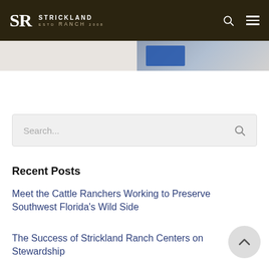SR STRICKLAND RANCH
[Figure (screenshot): Partial hero/banner image visible at top of page below header, showing a blue-toned partial image]
Search...
Recent Posts
Meet the Cattle Ranchers Working to Preserve Southwest Florida's Wild Side
The Success of Strickland Ranch Centers on Stewardship